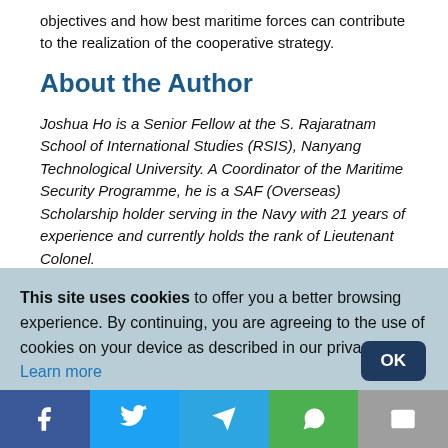objectives and how best maritime forces can contribute to the realization of the cooperative strategy.
About the Author
Joshua Ho is a Senior Fellow at the S. Rajaratnam School of International Studies (RSIS), Nanyang Technological University. A Coordinator of the Maritime Security Programme, he is a SAF (Overseas) Scholarship holder serving in the Navy with 21 years of experience and currently holds the rank of Lieutenant Colonel.
This site uses cookies to offer you a better browsing experience. By continuing, you are agreeing to the use of cookies on your device as described in our privacy policy. Learn more
[Figure (infographic): Social sharing bar with Facebook, Twitter, Telegram, WhatsApp, and Email icons]